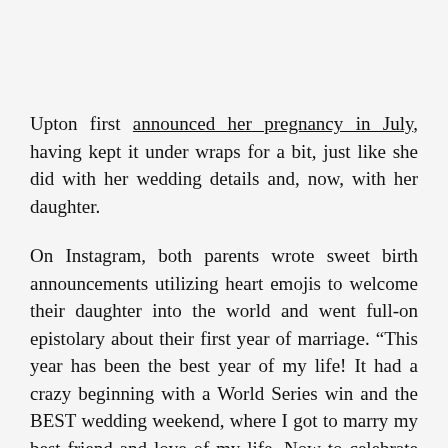Upton first announced her pregnancy in July, having kept it under wraps for a bit, just like she did with her wedding details and, now, with her daughter.
On Instagram, both parents wrote sweet birth announcements utilizing heart emojis to welcome their daughter into the world and went full-on epistolary about their first year of marriage. “This year has been the best year of my life! It had a crazy beginning with a World Series win and the BEST wedding weekend, where I got to marry my best friend and love of my life. Now to celebrate our love and our first year of marriage we are preparing to welcome a new addition to our